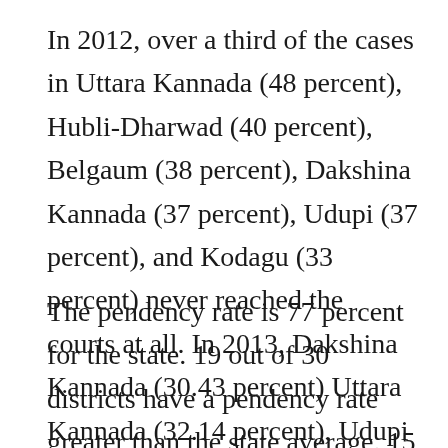In 2012, over a third of the cases in Uttara Kannada (48 percent), Hubli-Dharwad (40 percent), Belgaum (38 percent), Dakshina Kannada (37 percent), Udupi (37 percent), and Kodagu (33 percent) never reached the courts at all. In 2013, Dakshina Kannada (30.43 percent) Uttara Kannada (32.14 percent), Udupi (36.96 percent) fared similarly.
The pendency rate is 77 percent for the state. 19 out of 30 districts have a pendency rate greater than the state average. 15 districts have a pendency rate greater than 80 percent with Chikballapur (84 percent), Uttara Kannada and...